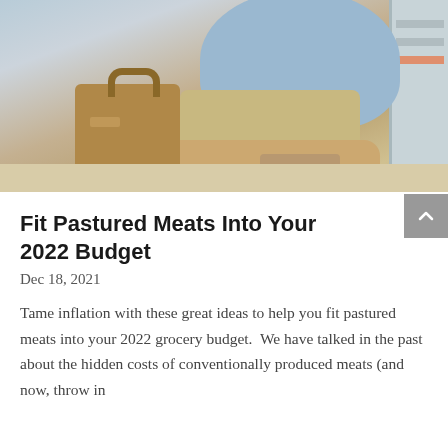[Figure (photo): Person in a light blue shirt and khaki pants crouching by an open refrigerator, holding a brown paper grocery bag]
Fit Pastured Meats Into Your 2022 Budget
Dec 18, 2021
Tame inflation with these great ideas to help you fit pastured meats into your 2022 grocery budget.  We have talked in the past about the hidden costs of conventionally produced meats (and now, throw in